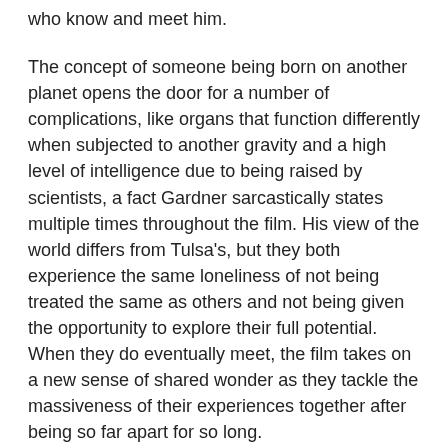who know and meet him.
The concept of someone being born on another planet opens the door for a number of complications, like organs that function differently when subjected to another gravity and a high level of intelligence due to being raised by scientists, a fact Gardner sarcastically states multiple times throughout the film. His view of the world differs from Tulsa's, but they both experience the same loneliness of not being treated the same as others and not being given the opportunity to explore their full potential. When they do eventually meet, the film takes on a new sense of shared wonder as they tackle the massiveness of their experiences together after being so far apart for so long.
Butterfield and Robertson are among the most talented young actors working today, with past credits in “Hugo” and “Tomorrowland,” respectively, and a number of other projects. They both possess exactly the right energy for these roles, and the young adult love story that plays out between them is sweet. Oldman and Carla Gugino, as Gardner’s astronaut mother figure, are fine, but this is